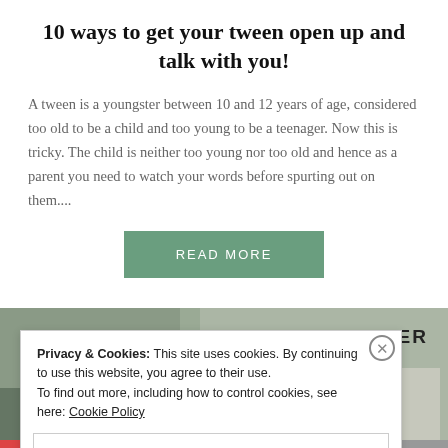10 ways to get your tween open up and talk with you!
A tween is a youngster between 10 and 12 years of age, considered too old to be a child and too young to be a teenager. Now this is tricky. The child is neither too young nor too old and hence as a parent you need to watch your words before spurting out on them....
READ MORE
[Figure (screenshot): Partial image strip showing text partially visible: SMARTER]
Privacy & Cookies: This site uses cookies. By continuing to use this website, you agree to their use.
To find out more, including how to control cookies, see here: Cookie Policy
Close and accept